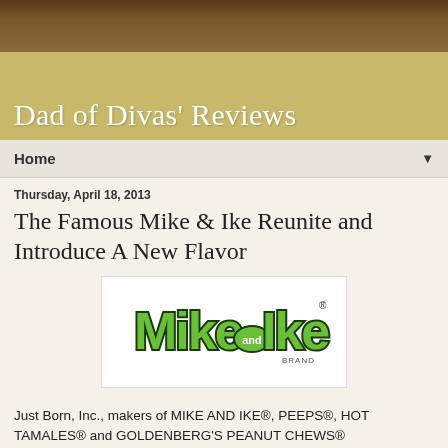[Figure (photo): Bookshelf with colorful books at top of page]
Dad of Divas' Reviews
Home ▼
Thursday, April 18, 2013
The Famous Mike & Ike Reunite and Introduce A New Flavor
[Figure (logo): Mike and Ike brand logo — green and white bubble letters with dark outline]
Just Born, Inc., makers of MIKE AND IKE®, PEEPS®, HOT TAMALES® and GOLDENBERG'S PEANUT CHEWS®